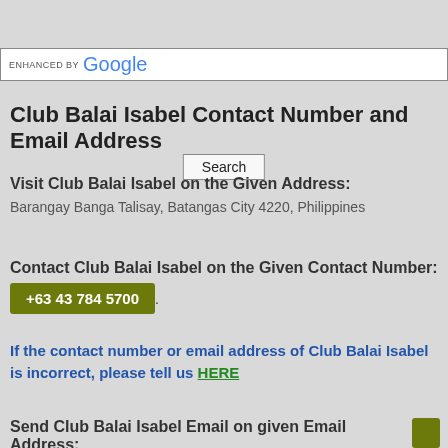[Figure (screenshot): Google search bar with 'ENHANCED BY Google' text and a Search button]
Club Balai Isabel Contact Number and Email Address
Visit Club Balai Isabel on the Given Address:
Barangay Banga Talisay, Batangas City 4220, Philippines
Contact Club Balai Isabel on the Given Contact Number:
+63 43 784 5700
If the contact number or email address of Club Balai Isabel is incorrect, please tell us HERE
Send Club Balai Isabel Email on given Email Address: